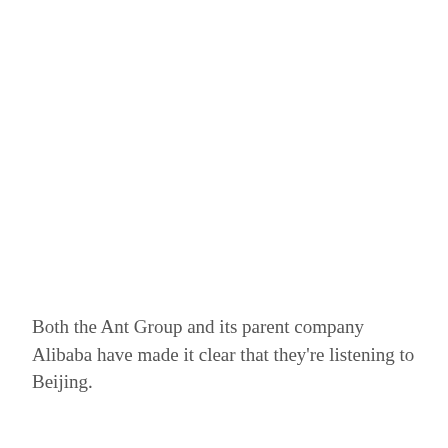Both the Ant Group and its parent company Alibaba have made it clear that they're listening to Beijing.